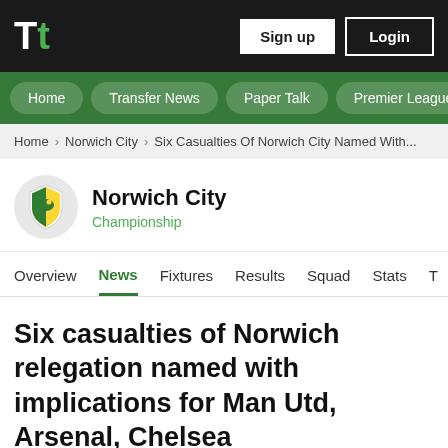Tt — Sign up  Login
Home
Transfer News
Paper Talk
Premier League
Home > Norwich City > Six Casualties Of Norwich City Named With...
Norwich City — Championship
Overview  News  Fixtures  Results  Squad  Stats  T
Six casualties of Norwich relegation named with implications for Man Utd, Arsenal, Chelsea
Samuel Bannister   Monday 2nd May 2022 6:10 PM